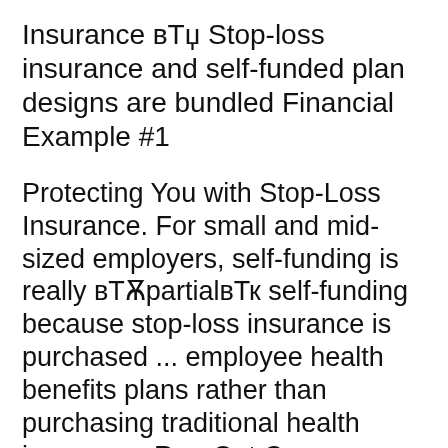Insurance вЂў Stop-loss insurance and self-funded plan designs are bundled Financial Example #1
Protecting You with Stop-Loss Insurance. For small and mid-sized employers, self-funding is really вЂњpartialвЂќ self-funding because stop-loss insurance is purchased ... employee health benefits plans rather than purchasing traditional health insurance. Run-Out Coverage Under Stop-Loss second example,
Guarding Financial Health A Solid Contract for Better Protection HM STOP LOSS Stop Loss insurance for an additional three or six months following The employer pays all losses under the